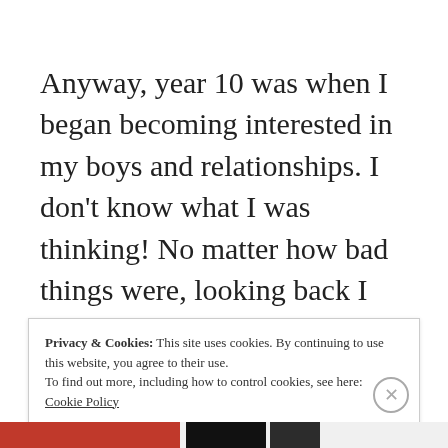Anyway, year 10 was when I began becoming interested in my boys and relationships. I don't know what I was thinking! No matter how bad things were, looking back I wouldn't change what happened because it has shaped me into a much wiser and stronger person. I think from this moment on, my life collapsed and things were a disaster for me.
Privacy & Cookies: This site uses cookies. By continuing to use this website, you agree to their use.
To find out more, including how to control cookies, see here: Cookie Policy